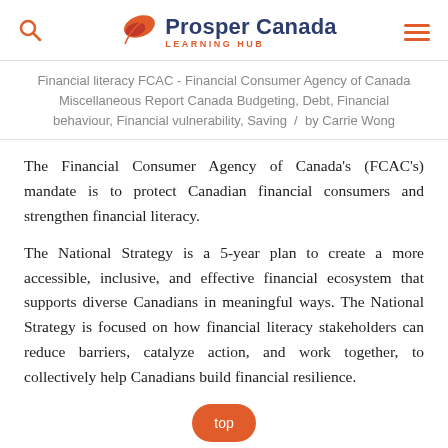Prosper Canada LEARNING HUB
Financial literacy FCAC - Financial Consumer Agency of Canada Miscellaneous Report Canada Budgeting, Debt, Financial behaviour, Financial vulnerability, Saving / by Carrie Wong
The Financial Consumer Agency of Canada's (FCAC's) mandate is to protect Canadian financial consumers and strengthen financial literacy.
The National Strategy is a 5-year plan to create a more accessible, inclusive, and effective financial ecosystem that supports diverse Canadians in meaningful ways. The National Strategy is focused on how financial literacy stakeholders can reduce barriers, catalyze action, and work together, to collectively help Canadians build financial resilience.